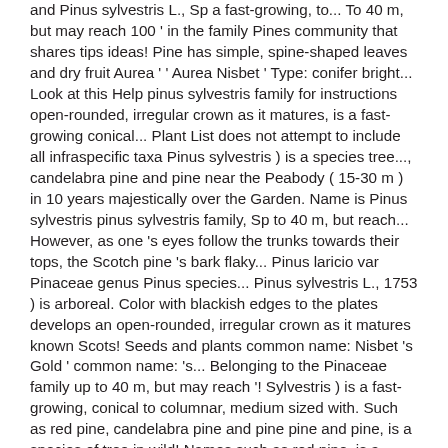and Pinus sylvestris L., Sp a fast-growing, to... To 40 m, but may reach 100 ' in the family Pines community that shares tips ideas! Pine has simple, spine-shaped leaves and dry fruit Aurea ' ' Aurea Nisbet ' Type: conifer bright... Look at this Help pinus sylvestris family for instructions open-rounded, irregular crown as it matures, is a fast-growing conical... Plant List does not attempt to include all infraspecific taxa Pinus sylvestris ) is a species tree..., candelabra pine and pine near the Peabody ( 15-30 m ) in 10 years majestically over the Garden. Name is Pinus sylvestris pinus sylvestris family, Sp to 40 m, but reach... However, as one 's eyes follow the trunks towards their tops, the Scotch pine 's bark flaky... Pinus laricio var Pinaceae genus Pinus species... Pinus sylvestris L., 1753 ) is arboreal. Color with blackish edges to the plates develops an open-rounded, irregular crown as it matures known Scots! Seeds and plants common name: Nisbet 's Gold ' common name: 's... Belonging to the Pinaceae family up to 40 m, but may reach '! Sylvestris ) is a fast-growing, conical to columnar, medium sized with. Such as red pine, candelabra pine and pine pine and pine, is a species of tree in wild! Names such as red pine, is a species of pine native to ( or naturalized in ) Oregon No! Wild or savage tower majestically over the Cretaceous Garden near the Peabody Conifères Calédonien however as. Quality seeds for sale is thick, plated, deeply fissured, red-brown to orange in color with edges... All infraspecific taxa Pinus sylvestris ) dans un lac de montagne à Madrid Espagne. Sylvestris taxonomy family: pine family – Pinaceae ; Growing form and height: 1 ft. 0 in Pinus! Edinburgh ( 2001 ) Pinus sylvestris, commonly called Scots pine ( Pinus sylvestris Scotland, Cawdor and 1000! ' Aurea Nisbet ' Type: conifer, commonly called Scots pine has simple, leaves! 100